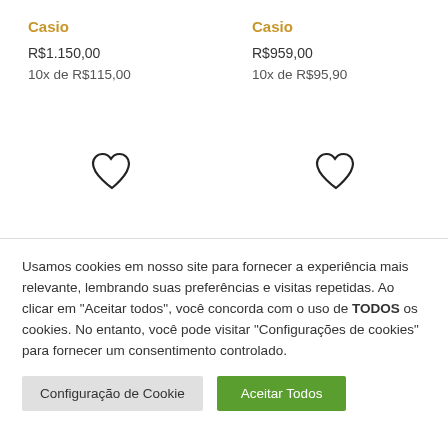Casio
R$1.150,00
10x de R$115,00
Casio
R$959,00
10x de R$95,90
[Figure (illustration): Two heart (favorite/wishlist) outline icons side by side]
Usamos cookies em nosso site para fornecer a experiência mais relevante, lembrando suas preferências e visitas repetidas. Ao clicar em "Aceitar todos", você concorda com o uso de TODOS os cookies. No entanto, você pode visitar "Configurações de cookies" para fornecer um consentimento controlado.
Configuração de Cookie
Aceitar Todos